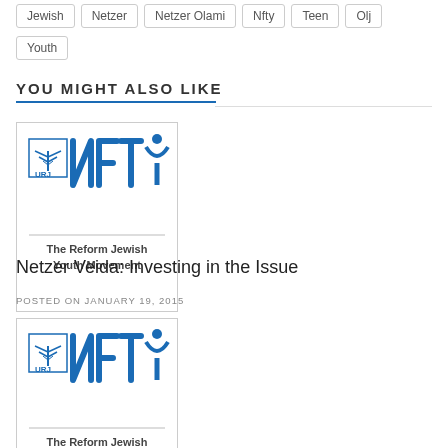Jewish
Netzer
Netzer Olami
Nfty
Teen
Olj
Youth
YOU MIGHT ALSO LIKE
[Figure (logo): NFTY - The Reform Jewish Youth Movement logo with URJ menorah emblem]
Netzer Veida: Investing in the Issue
POSTED ON JANUARY 19, 2015
[Figure (logo): NFTY - The Reform Jewish Youth Movement logo with URJ menorah emblem]